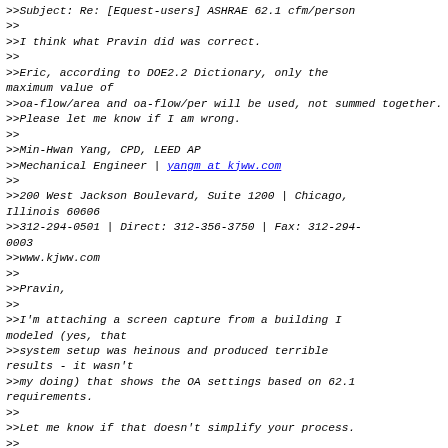>>Subject: Re: [Equest-users] ASHRAE 62.1 cfm/person
>>
>>I think what Pravin did was correct.
>>
>>Eric, according to DOE2.2 Dictionary, only the maximum value of
>>oa-flow/area and oa-flow/per will be used, not summed together.
>>Please let me know if I am wrong.
>>
>>Min-Hwan Yang, CPD, LEED AP
>>Mechanical Engineer | yangm at kjww.com
>>
>>200 West Jackson Boulevard, Suite 1200 | Chicago, Illinois 60606
>>312-294-0501 | Direct: 312-356-3750 | Fax: 312-294-0003
>>www.kjww.com
>>
>>Pravin,
>>
>>I'm attaching a screen capture from a building I modeled (yes, that
>>system setup was heinous and produced terrible results - it wasn't
>>my doing) that shows the OA settings based on 62.1 requirements.
>>
>>Let me know if that doesn't simplify your process.
>>